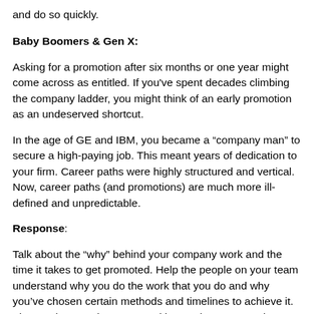and do so quickly.
Baby Boomers & Gen X:
Asking for a promotion after six months or one year might come across as entitled. If you've spent decades climbing the company ladder, you might think of an early promotion as an undeserved shortcut.
In the age of GE and IBM, you became a “company man” to secure a high-paying job. This meant years of dedication to your firm. Career paths were highly structured and vertical. Now, career paths (and promotions) are much more ill-defined and unpredictable.
Response:
Talk about the “why” behind your company work and the time it takes to get promoted. Help the people on your team understand why you do the work that you do and why you’ve chosen certain methods and timelines to achieve it. Then make sure that you’re asking each person on the team why they are working for this organization and what their goals are.